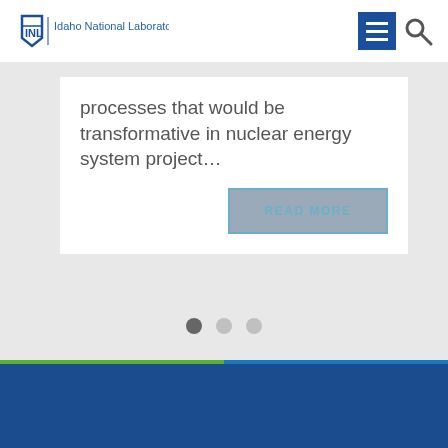[Figure (logo): INL Idaho National Laboratory logo in blue]
[Figure (infographic): Navigation menu icon (hamburger) and search icon in dark blue]
processes that would be transformative in nuclear energy system project…
READ MORE
[Figure (infographic): Carousel pagination dots: one dark (active) and two light (inactive)]
[Figure (logo): U.S. Department of Energy logo with circular seal and ENERGY text in white on dark blue background]